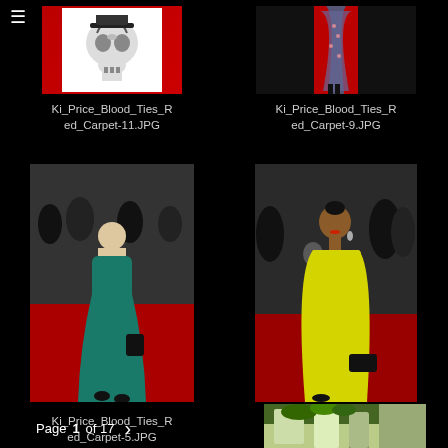[Figure (photo): Skull with hat on red/white background - Ki_Price_Blood_Ties_Red_Carpet-11.JPG thumbnail]
Ki_Price_Blood_Ties_Red_Carpet-11.JPG
[Figure (photo): Dress on red background - Ki_Price_Blood_Ties_Red_Carpet-9.JPG thumbnail]
Ki_Price_Blood_Ties_Red_Carpet-9.JPG
[Figure (photo): Elderly woman in teal dress on red carpet - Ki_Price_Blood_Ties_Red_Carpet-5.JPG thumbnail]
Ki_Price_Blood_Ties_Red_Carpet-5.JPG
[Figure (photo): Woman in yellow dress on red carpet - Ki_Price_Blood_Ties_Red_Carpet-3.JPG thumbnail]
Ki_Price_Blood_Ties_Red_Carpet-3.JPG
Page 1 of 17
[Figure (photo): Partial photo of outdoor scene with greenery]